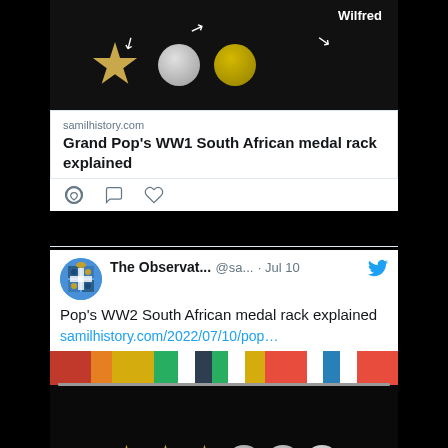[Figure (photo): Top portion of a tweet showing a dark background image of WW1 South African medals with arrows and the name 'Wilfred' visible. Below is a link card from samilhistory.com with the title 'Grand Pop's WW1 South African medal rack explained' and like/comment icons.]
[Figure (screenshot): A tweet from 'The Observat...' (@sa...) dated Jul 10, with text "Pop's WW2 South African medal rack explained" and a link to samilhistory.com/2022/07/10/pop... Below is a photo of a WW2 South African medal rack with colorful ribbons and star/round medals on a dark background.]